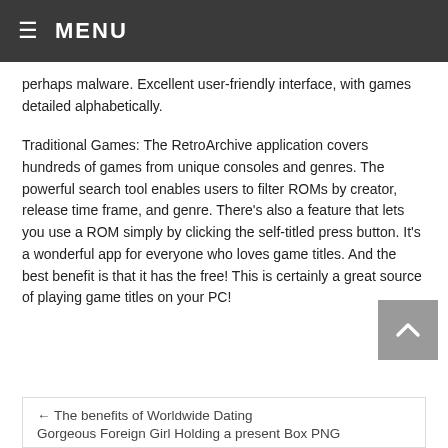≡ MENU
perhaps malware. Excellent user-friendly interface, with games detailed alphabetically.
Traditional Games: The RetroArchive application covers hundreds of games from unique consoles and genres. The powerful search tool enables users to filter ROMs by creator, release time frame, and genre. There's also a feature that lets you use a ROM simply by clicking the self-titled press button. It's a wonderful app for everyone who loves game titles. And the best benefit is that it has the free! This is certainly a great source of playing game titles on your PC!
← The benefits of Worldwide Dating
Gorgeous Foreign Girl Holding a present Box PNG